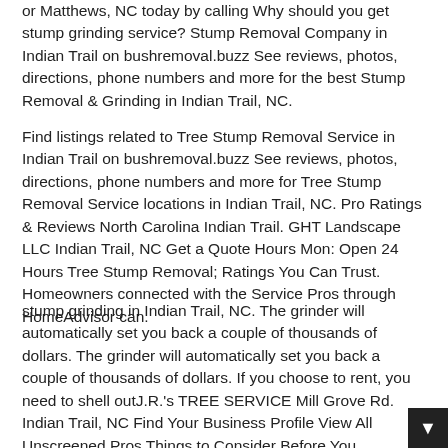or Matthews, NC today by calling Why should you get stump grinding service? Stump Removal Company in Indian Trail on bushremoval.buzz See reviews, photos, directions, phone numbers and more for the best Stump Removal & Grinding in Indian Trail, NC.
Find listings related to Tree Stump Removal Service in Indian Trail on bushremoval.buzz See reviews, photos, directions, phone numbers and more for Tree Stump Removal Service locations in Indian Trail, NC. Pro Ratings & Reviews North Carolina Indian Trail. GHT Landscape LLC Indian Trail, NC Get a Quote Hours Mon: Open 24 Hours Tree Stump Removal; Ratings You Can Trust. Homeowners connected with the Service Pros through HomeAdvisor can.
stump grinding in Indian Trail, NC. The grinder will automatically set you back a couple of thousands of dollars. The grinder will automatically set you back a couple of thousands of dollars. If you choose to rent, you need to shell outJ.R.'s TREE SERVICE Mill Grove Rd. Indian Trail, NC Find Your Business Profile View All Unscreened Pros Things to Consider Before You.